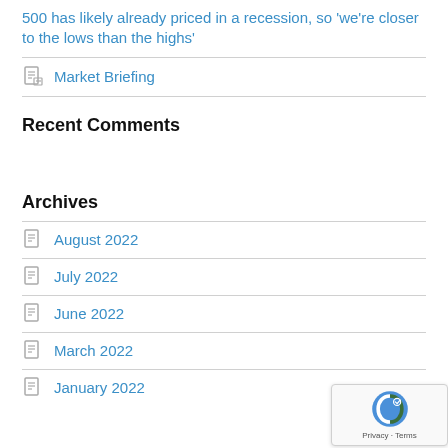500 has likely already priced in a recession, so ‘we’re closer to the lows than the highs’
Market Briefing
Recent Comments
Archives
August 2022
July 2022
June 2022
March 2022
January 2022